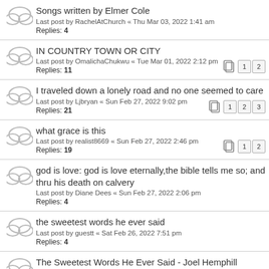Songs written by Elmer Cole
Last post by RachelAtChurch « Thu Mar 03, 2022 1:41 am
Replies: 4
IN COUNTRY TOWN OR CITY
Last post by OmalichaChukwu « Tue Mar 01, 2022 2:12 pm
Replies: 11
Pages: 1 2
I traveled down a lonely road and no one seemed to care
Last post by Ljbryan « Sun Feb 27, 2022 9:02 pm
Replies: 21
Pages: 1 2 3
what grace is this
Last post by realist8669 « Sun Feb 27, 2022 2:46 pm
Replies: 19
Pages: 1 2
god is love: god is love eternally,the bible tells me so; and thru his death on calvery
Last post by Diane Dees « Sun Feb 27, 2022 2:06 pm
Replies: 4
the sweetest words he ever said
Last post by guestt « Sat Feb 26, 2022 7:51 pm
Replies: 4
The Sweetest Words He Ever Said - Joel Hemphill
Last post by ... « Sat Feb 26, 2022 5:52 pm